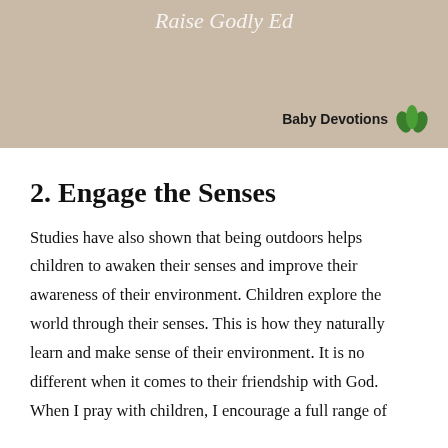[Figure (illustration): Decorative banner with beige/tan background, cursive script text partially visible at top, and 'Baby Devotions' logo with green leaf icon in bottom-right corner]
2. Engage the Senses
Studies have also shown that being outdoors helps children to awaken their senses and improve their awareness of their environment. Children explore the world through their senses. This is how they naturally learn and make sense of their environment. It is no different when it comes to their friendship with God. When I pray with children, I encourage a full range of